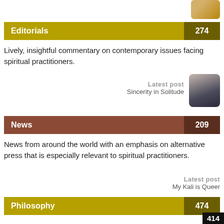[Figure (photo): Small thumbnail image at top right, appears to show a golden/food subject]
Editorials 274
Lively, insightful commentary on contemporary issues facing spiritual practitioners.
Latest post
Sincerity in Solitude
[Figure (photo): Thumbnail image showing a silhouette against a sunset/dark landscape, rounded corners]
News 209
News from around the world with an emphasis on alternative press that is especially relevant to spiritual practitioners.
Latest post
My Kali is Queer
Philosophy 474
Philosophical articles on Gaudiya Vaisnavism that focus on the tradition's scriptural conclusions as well as its feeling for the nature of ultimate reality.
Latest post
414